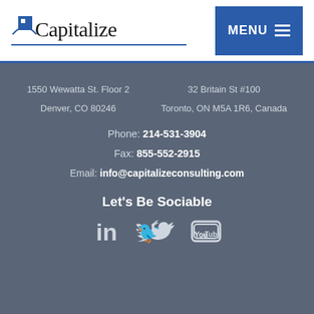Capitalize | MENU
1550 Wewatta St. Floor 2
Denver, CO 80246
32 Britain St #100
Toronto, ON M5A 1R6, Canada
Phone: 214-531-3904
Fax: 855-552-2915
Email: info@capitalizeconsulting.com
Let's Be Sociable
[Figure (illustration): Social media icons: LinkedIn, Twitter, YouTube]